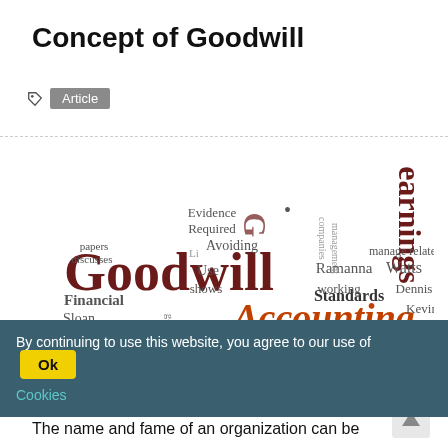Concept of Goodwill
Article
[Figure (infographic): Word cloud featuring terms related to goodwill accounting including: Goodwill, Accounting, earnings, Impairments, Standards, Evidence, Required, Avoiding, Financial, SFAS, Chambers, Statement, Ramanna, Watts, Dennis, Kevin, Ross, Sloan, Karthik, Unverifiable, Impairment results, Bad, non-impairment, Use, shows, papers, discusses, goodwill-related, management, companies, working, Gone, effect, Reducing, Richard, article]
By continuing to use this website, you agree to our use of Cookies
Concept of Goodwill
The name and fame of an organization can be